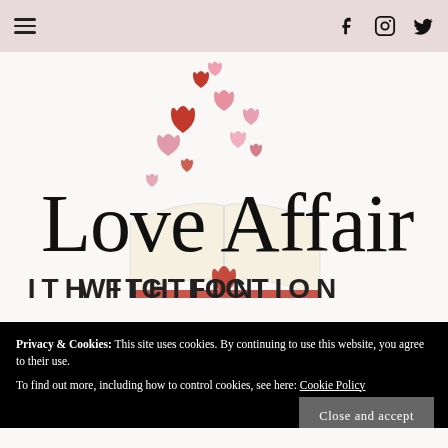Navigation bar with hamburger menu and social icons (Facebook, Instagram, Twitter)
[Figure (logo): Love Affair With Fiction logo — cursive script 'Love Affair' with an open book and red hearts floating upward, subtitle 'WITH FICTION' in wide-spaced caps]
Privacy & Cookies: This site uses cookies. By continuing to use this website, you agree to their use.
To find out more, including how to control cookies, see here: Cookie Policy
Close and accept